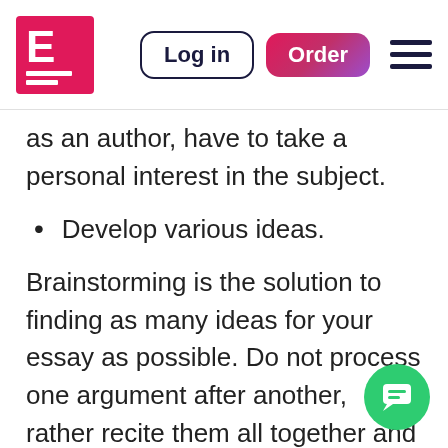[Figure (logo): EduBirdie or similar essay writing service logo — red square with white letter E and white horizontal lines below]
Log in
Order
as an author, have to take a personal interest in the subject.
Develop various ideas.
Brainstorming is the solution to finding as many ideas for your essay as possible. Do not process one argument after another, rather recite them all together and wait till the list is finalized. Then pick up the most relevant and remarkable ones. Ensure they are logically associated.